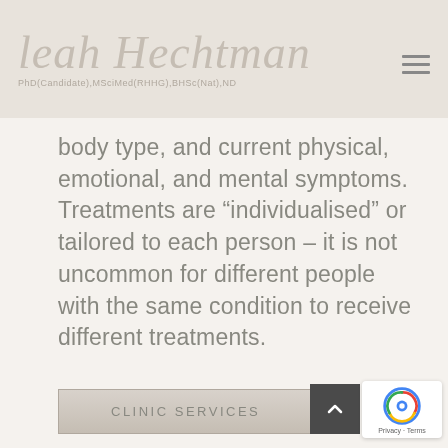Leah Hechtman PhD(Candidate),MSciMed(RHHG),BHSc(Nat),ND
body type, and current physical, emotional, and mental symptoms. Treatments are “individualised” or tailored to each person – it is not uncommon for different people with the same condition to receive different treatments.
CLINIC SERVICES